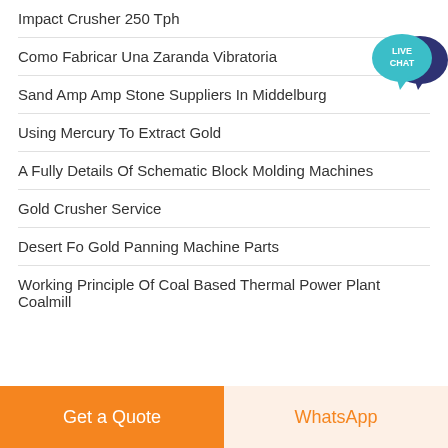Impact Crusher 250 Tph
Como Fabricar Una Zaranda Vibratoria
Sand Amp Amp Stone Suppliers In Middelburg
Using Mercury To Extract Gold
A Fully Details Of Schematic Block Molding Machines
Gold Crusher Service
Desert Fo Gold Panning Machine Parts
Working Principle Of Coal Based Thermal Power Plant Coalmill
[Figure (illustration): Live Chat speech bubble icon in teal/dark blue colors with text LIVE CHAT]
Get a Quote
WhatsApp